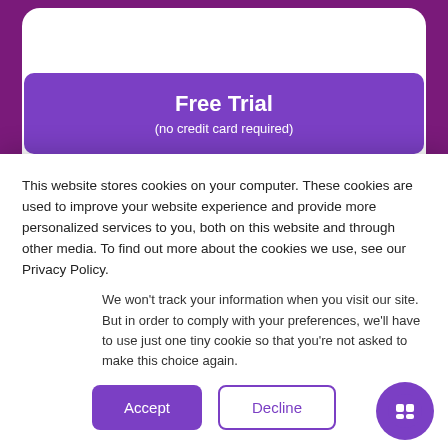[Figure (screenshot): Purple button labeled 'Free Trial (no credit card required)' inside a white card on a purple background]
[Figure (logo): Partial logo icon with purple chevron/code bracket shapes inside a bordered box on a white card]
This website stores cookies on your computer. These cookies are used to improve your website experience and provide more personalized services to you, both on this website and through other media. To find out more about the cookies we use, see our Privacy Policy.
We won't track your information when you visit our site. But in order to comply with your preferences, we'll have to use just one tiny cookie so that you're not asked to make this choice again.
[Figure (other): Accept button (purple filled) and Decline button (purple outline) and a purple circular chat icon in the bottom right]